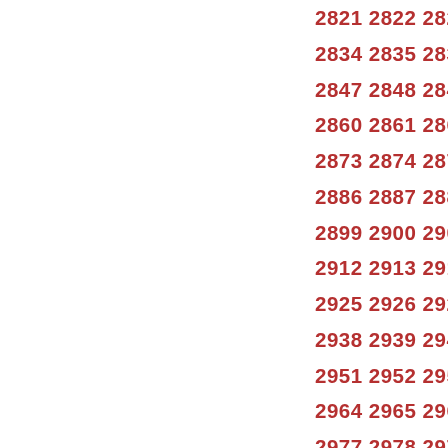2821 2822 2823 2824 2825 2826 2834 2835 2836 2837 2838 2839 2847 2848 2849 2850 2851 2852 2860 2861 2862 2863 2864 2865 2873 2874 2875 2876 2877 2878 2886 2887 2888 2889 2890 2891 2899 2900 2901 2902 2903 2904 2912 2913 2914 2915 2916 2917 2925 2926 2927 2928 2929 2930 2938 2939 2940 2941 2942 2943 2951 2952 2953 2954 2955 2956 2964 2965 2966 2967 2968 2969 2977 2978 2979 2980 2981 2982 2990 2991 2992 2993 2994 2995 3003 3004 3005 3006 3007 3008 3016 3017 3018 3019 3020 3021 3029 3030 3031 3032 3033 3034 3042 3043 3044 3045 3046 3047 3055 3056 3057 3058 3059 3060 3068 3069 3070 3071 3072 3073 3081 3082 3083 3084 3085 3086 3094 3095 3096 3097 3098 3099